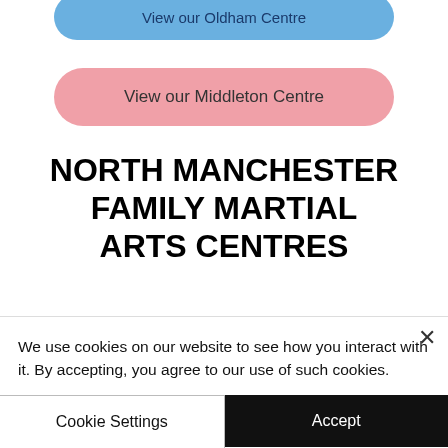[Figure (other): Blue rounded button partially visible at top with text 'View our Oldham Centre']
[Figure (other): Pink rounded button with text 'View our Middleton Centre']
NORTH MANCHESTER FAMILY MARTIAL ARTS CENTRES
FMACNorthManchester@gmail.com
07811 006469 Prestwich
07582 675068 Oldham
07704 688071 Middleton
[Figure (other): Outlined rounded button with text 'Click here to see our Safeguarding Policies']
We use cookies on our website to see how you interact with it. By accepting, you agree to our use of such cookies.
[Figure (other): Cookie Settings button (outlined) and Accept button (black), side by side]